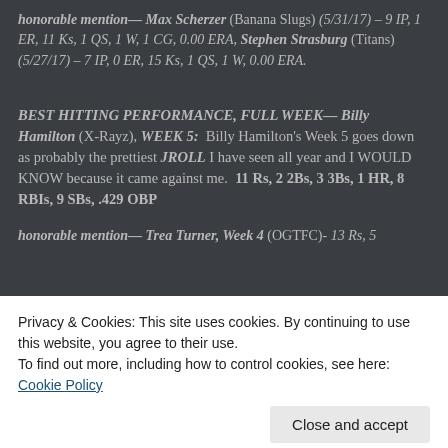honorable mention— Max Scherzer (Banana Slugs) (5/31/17) – 9 IP, 1 ER, 11 Ks, 1 QS, 1 W, 1 CG, 0.00 ERA, Stephen Strasburg (Titans) (5/27/17) – 7 IP, 0 ER, 15 Ks, 1 QS, 1 W, 0.00 ERA.
BEST HITTING PERFORMANCE, FULL WEEK— Billy Hamilton (X-Rayz), WEEK 5: Billy Hamilton's Week 5 goes down as probably the prettiest JROLL I have seen all year and I WOULD KNOW because it came against me. 11 Rs, 2 2Bs, 3 3Bs, 1 HR, 8 RBIs, 9 SBs, .429 OBP
honorable mention— Trea Turner, Week 4 (OGTFC)- 13 Rs, 5
Privacy & Cookies: This site uses cookies. By continuing to use this website, you agree to their use.
To find out more, including how to control cookies, see here: Cookie Policy
BEST PITCHING PERFORMANCE, FULL WEEK— Dallas (partially visible)